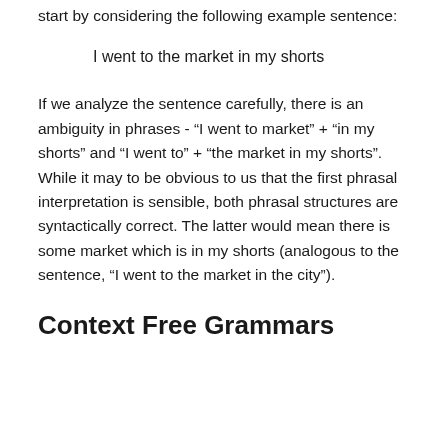start by considering the following example sentence:
I went to the market in my shorts
If we analyze the sentence carefully, there is an ambiguity in phrases - “I went to market” + “in my shorts” and “I went to” + “the market in my shorts”. While it may to be obvious to us that the first phrasal interpretation is sensible, both phrasal structures are syntactically correct. The latter would mean there is some market which is in my shorts (analogous to the sentence, “I went to the market in the city”).
Context Free Grammars